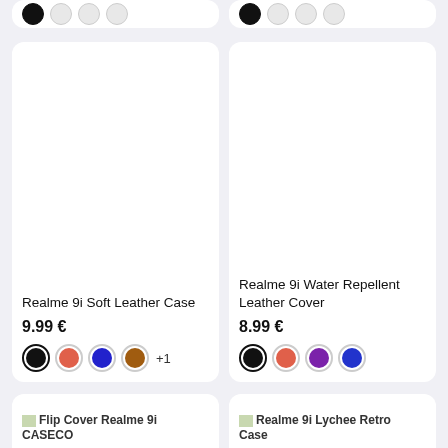[Figure (screenshot): Top partial product cards showing color swatches only (cropped at top)]
[Figure (photo): Product card: Realme 9i Soft Leather Case, white background image area]
Realme 9i Soft Leather Case
9.99 €
[Figure (photo): Color swatches: black (selected), red/coral, blue, brown, +1 more]
[Figure (photo): Product card: Realme 9i Water Repellent Leather Cover, white background image area]
Realme 9i Water Repellent Leather Cover
8.99 €
[Figure (photo): Color swatches: black (selected), red/coral, purple, blue]
Flip Cover Realme 9i CASECO
Realme 9i Lychee Retro Case